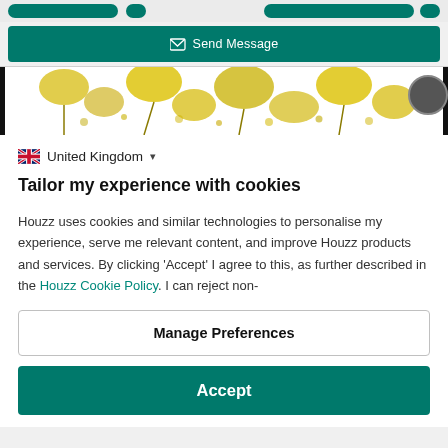[Figure (screenshot): Top navigation bar with green rounded buttons and small icon buttons on grey background]
[Figure (screenshot): Green 'Send Message' button bar]
[Figure (photo): Yellow floral/botanical pattern photo strip on dark background]
United Kingdom
Tailor my experience with cookies
Houzz uses cookies and similar technologies to personalise my experience, serve me relevant content, and improve Houzz products and services. By clicking ‘Accept’ I agree to this, as further described in the Houzz Cookie Policy. I can reject non-
Manage Preferences
Accept